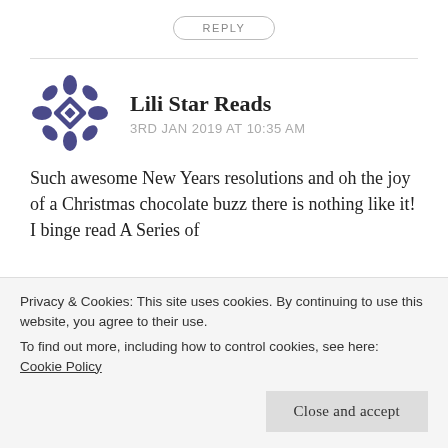REPLY
Lili Star Reads
3RD JAN 2019 AT 10:35 AM
Such awesome New Years resolutions and oh the joy of a Christmas chocolate buzz there is nothing like it! I binge read A Series of
Privacy & Cookies: This site uses cookies. By continuing to use this website, you agree to their use.
To find out more, including how to control cookies, see here:
Cookie Policy
Close and accept